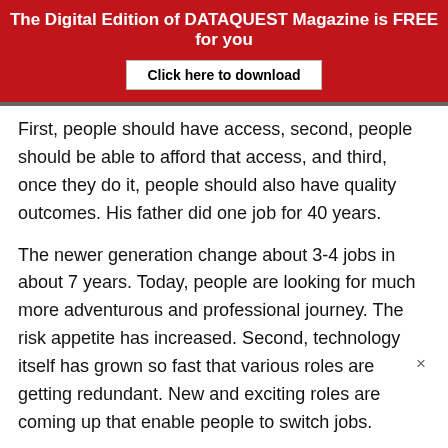The Digital Edition of DATAQUEST Magazine is FREE for you
Click here to download
First, people should have access, second, people should be able to afford that access, and third, once they do it, people should also have quality outcomes. His father did one job for 40 years.
The newer generation change about 3-4 jobs in about 7 years. Today, people are looking for much more adventurous and professional journey. The risk appetite has increased. Second, technology itself has grown so fast that various roles are getting redundant. New and exciting roles are coming up that enable people to switch jobs.
One-time education is not going to cut it anymore!